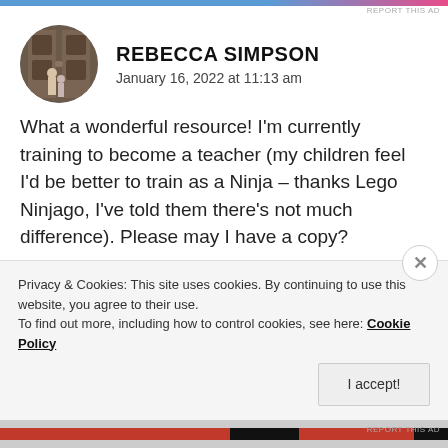REPORT THIS AD
[Figure (photo): Circular avatar photo of a person standing in front of large ornate doors]
REBECCA SIMPSON
January 16, 2022 at 11:13 am
What a wonderful resource! I'm currently training to become a teacher (my children feel I'd be better to train as a Ninja – thanks Lego Ninjago, I've told them there's not much difference). Please may I have a copy?
★ Like
Privacy & Cookies: This site uses cookies. By continuing to use this website, you agree to their use.
To find out more, including how to control cookies, see here: Cookie Policy
I accept!